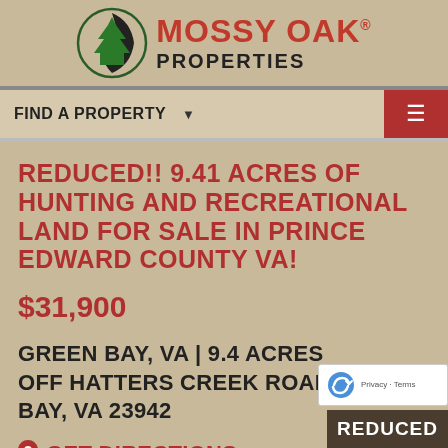[Figure (logo): Mossy Oak Properties logo with tree icon and bold red/black text]
FIND A PROPERTY ▼
REDUCED!! 9.41 ACRES OF HUNTING AND RECREATIONAL LAND FOR SALE IN PRINCE EDWARD COUNTY VA!
$31,900
GREEN BAY, VA | 9.4 ACRES
OFF HATTERS CREEK ROAD GREEN BAY, VA 23942
GET DIRECTIONS
[Figure (other): REDUCED badge at bottom right]